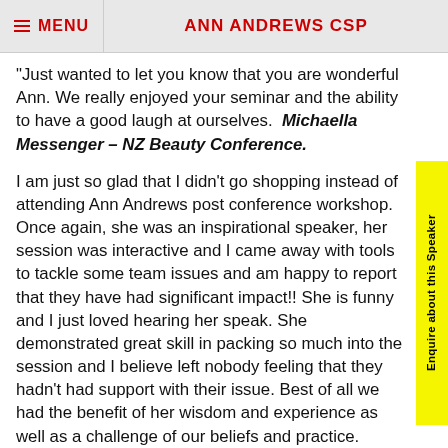MENU   ANN ANDREWS CSP
"Just wanted to let you know that you are wonderful Ann. We really enjoyed your seminar and the ability to have a good laugh at ourselves.  Michaella Messenger – NZ Beauty Conference.
I am just so glad that I didn't go shopping instead of attending Ann Andrews post conference workshop. Once again, she was an inspirational speaker, her session was interactive and I came away with tools to tackle some team issues and am happy to report that they have had significant impact!! She is funny and I just loved hearing her speak. She demonstrated great skill in packing so much into the session and I believe left nobody feeling that they hadn't had support with their issue. Best of all we had the benefit of her wisdom and experience as well as a challenge of our beliefs and practice. Thanks Ann.  Attendee- ASENZ Conference Wellington
'Ann Andrews is AWESOME! Whether you have an audience of 5 who have never seen a speaker before...